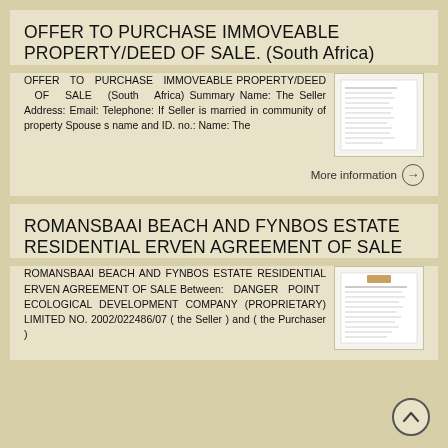OFFER TO PURCHASE IMMOVEABLE PROPERTY/DEED OF SALE. (South Africa)
OFFER TO PURCHASE IMMOVEABLE PROPERTY/DEED OF SALE (South Africa) Summary Name: The Seller Address: Email: Telephone: If Seller is married in community of property Spouse s name and ID. no.: Name: The
[Figure (screenshot): Thumbnail image of the Offer to Purchase Immoveable Property/Deed of Sale document]
More information →
ROMANSBAAI BEACH AND FYNBOS ESTATE RESIDENTIAL ERVEN AGREEMENT OF SALE
ROMANSBAAI BEACH AND FYNBOS ESTATE RESIDENTIAL ERVEN AGREEMENT OF SALE Between: DANGER POINT ECOLOGICAL DEVELOPMENT COMPANY (PROPRIETARY) LIMITED NO. 2002/022486/07 ( the Seller ) and ( the Purchaser )
[Figure (screenshot): Thumbnail image of the Romansbaai Beach and Fynbos Estate Residential Erven Agreement of Sale document]